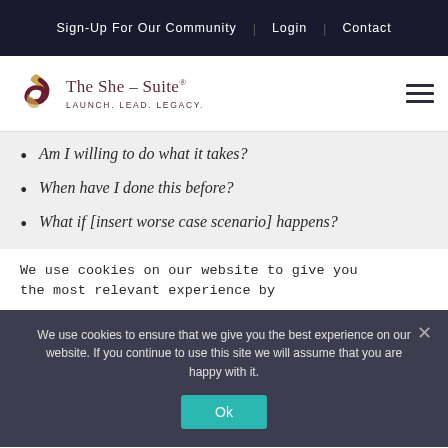Sign-Up For Our Community  Login  Contact
[Figure (logo): The She-Suite logo with stylized S icon and tagline LAUNCH. LEAD. LEGACY.]
Am I willing to do what it takes?
When have I done this before?
What if [insert worse case scenario] happens?
We use cookies on our website to give you the most relevant experience by
We use cookies to ensure that we give you the best experience on our website. If you continue to use this site we will assume that you are happy with it.